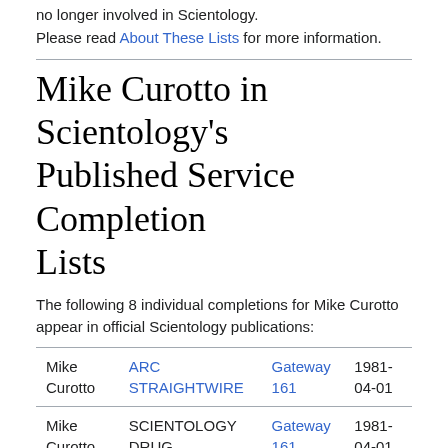no longer involved in Scientology. Please read About These Lists for more information.
Mike Curotto in Scientology's Published Service Completion Lists
The following 8 individual completions for Mike Curotto appear in official Scientology publications:
| Name | Service | Publication | Date |
| --- | --- | --- | --- |
| Mike Curotto | ARC STRAIGHTWIRE | Gateway 161 | 1981-04-01 |
| Mike Curotto | SCIENTOLOGY DRUG RUNDOWN | Gateway 161 | 1981-04-01 |
| Mike Curotto | GRADE 0 | Gateway 161 | 1981-04-01 |
| Mike Curotto | GRADE I | Gateway 161 | 1981-04-01 |